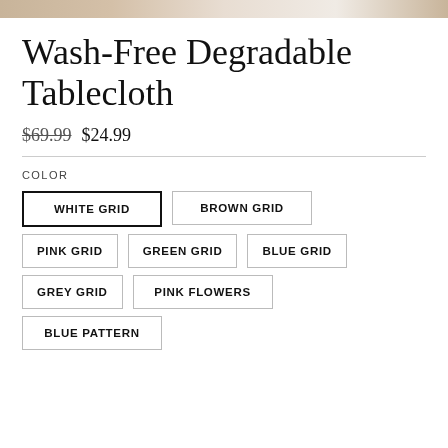Wash-Free Degradable Tablecloth
$69.99  $24.99
COLOR
WHITE GRID
BROWN GRID
PINK GRID
GREEN GRID
BLUE GRID
GREY GRID
PINK FLOWERS
BLUE PATTERN